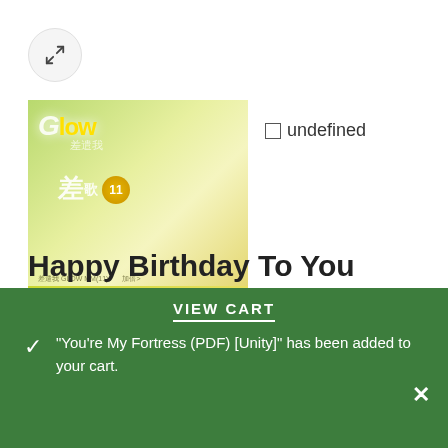[Figure (screenshot): Expand/zoom button — circular grey button with expand arrows icon]
[Figure (illustration): Album cover with green-yellow gradient background, GLOW text, Chinese characters, circular badge, and bottom bar with arrows]
undefined
Home / Digital Products(Downloadable) / MP3(Downloadable) / Accompaniment MP3 / Others Single Accompaniment
Happy Birthday To You (MMO) [Send Me
VIEW CART
"You're My Fortress (PDF) [Unity]" has been added to your cart.